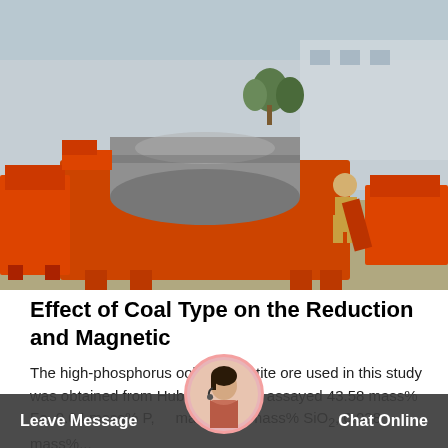[Figure (photo): Industrial magnetic separation machines painted orange, with a large cylindrical drum on the main unit, photographed outdoors in a factory yard. Multiple orange machines visible, with workers nearby.]
Effect of Coal Type on the Reduction and Magnetic
The high-phosphorus oolitic hematite ore used in this study was obtained from Hubei Province, assayed 43.58 mass% Fe, 0.04 mass% P, mass% mass% SiO2, 0.028 mass%...